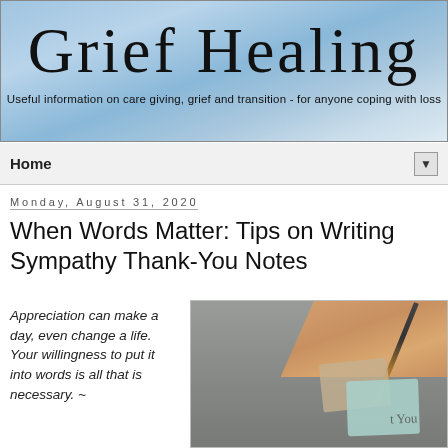[Figure (screenshot): Grief Healing blog header banner with cursive title text on blue sky background and subtitle text]
Home ▼
Monday, August 31, 2020
When Words Matter: Tips on Writing Sympathy Thank-You Notes
Appreciation can make a day, even change a life. Your willingness to put it into words is all that is necessary. ~
[Figure (photo): Close-up photo of a hand holding a pen writing on a thank-you note card, with an envelope and teal card visible on a gray surface]